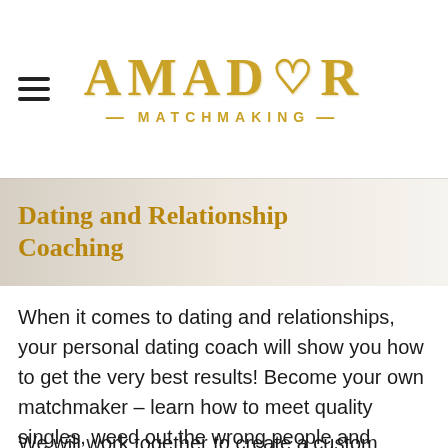AMADOR MATCHMAKING
Dating and Relationship Coaching
When it comes to dating and relationships, your personal dating coach will show you how to get the very best results! Become your own matchmaker – learn how to meet quality singles, weed out the wrong people and attract and keep the RIGHT one for you!
We will work together to create a custom